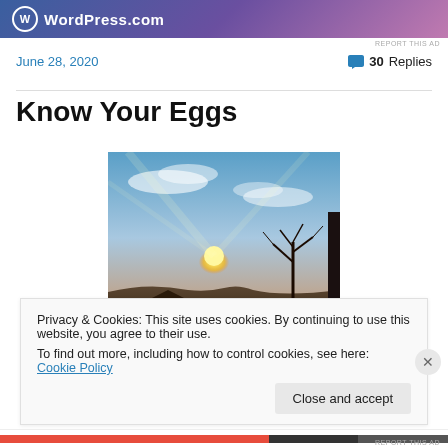[Figure (logo): WordPress.com banner ad at top of page with blue-purple gradient background and WordPress logo with white circle W icon and white text 'WordPress.com']
REPORT THIS AD
June 28, 2020
30 Replies
Know Your Eggs
[Figure (photo): Photograph of a sunset or sunrise scene with bright sun near the horizon, silhouettes of a bare tree and rooftop against a blue sky with clouds and light streaks]
Privacy & Cookies: This site uses cookies. By continuing to use this website, you agree to their use.
To find out more, including how to control cookies, see here: Cookie Policy
Close and accept